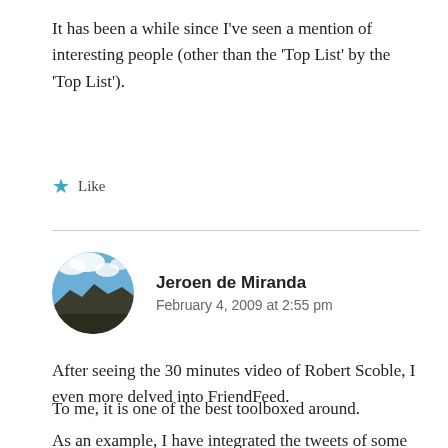It has been a while since I've seen a mention of interesting people (other than the 'Top List' by the 'Top List').
★ Like
[Figure (photo): Circular avatar photo of commenter Jeroen de Miranda showing a landscape with clouds and hills]
Jeroen de Miranda
February 4, 2009 at 2:55 pm
After seeing the 30 minutes video of Robert Scoble, I even more delved into FriendFeed.
To me, it is one of the best toolboxed around.
As an example, I have integrated the tweets of some eight editors of a well-known Dutch Government Ning.